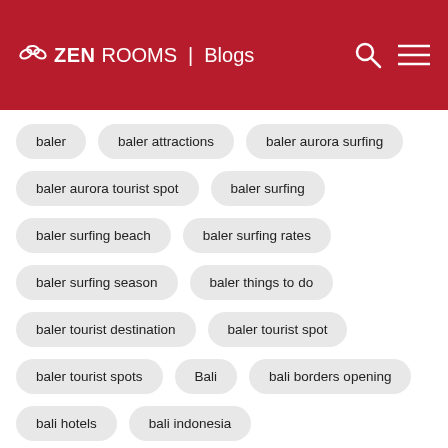ZEN ROOMS | Blogs
baler
baler attractions
baler aurora surfing
baler aurora tourist spot
baler surfing
baler surfing beach
baler surfing rates
baler surfing season
baler things to do
baler tourist destination
baler tourist spot
baler tourist spots
Bali
bali borders opening
bali hotels
bali indonesia
bali indonesia tourist spot
bali open for tourism